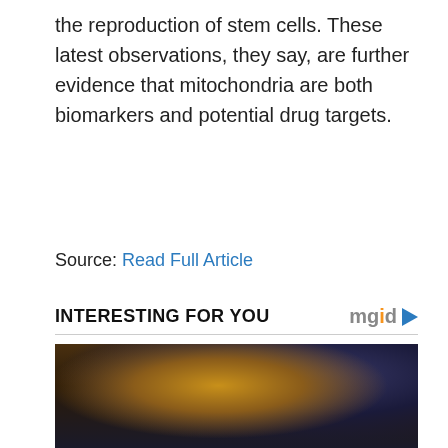the reproduction of stem cells. These latest observations, they say, are further evidence that mitochondria are both biomarkers and potential drug targets.
Source: Read Full Article
INTERESTING FOR YOU
[Figure (photo): A woman reclining on a sofa, smiling, wearing a black bikini top and gray patterned leggings, photographed against a dark golden and blue background.]